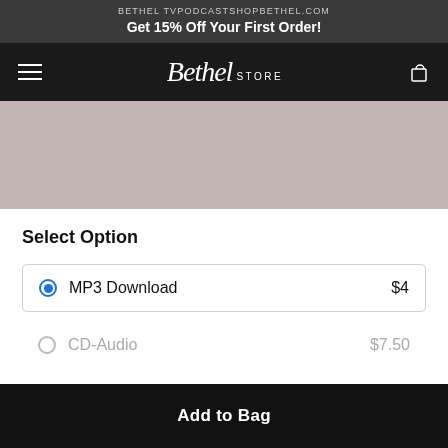BETHEL TV   PODCAST   SHOP   BETHEL.COM
Get 15% Off Your First Order!
[Figure (screenshot): Bethel Store navigation bar with hamburger menu on left, Bethel Store logo in center, and bag/cart icon on right, on dark background]
[Figure (photo): Product image area with muted rose/taupe background color]
Select Option
MP3 Download   $4 (selected)
CD-Audio   $7.50
Add to Bag